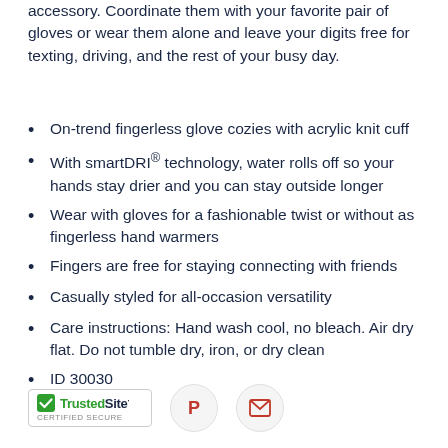accessory. Coordinate them with your favorite pair of gloves or wear them alone and leave your digits free for texting, driving, and the rest of your busy day.
On-trend fingerless glove cozies with acrylic knit cuff
With smartDRI® technology, water rolls off so your hands stay drier and you can stay outside longer
Wear with gloves for a fashionable twist or without as fingerless hand warmers
Fingers are free for staying connecting with friends
Casually styled for all-occasion versatility
Care instructions: Hand wash cool, no bleach. Air dry flat. Do not tumble dry, iron, or dry clean
ID 30030
[Figure (logo): TrustedSite Certified Secure badge with green checkmark]
[Figure (logo): Pinterest share button - red P icon in light circle]
[Figure (logo): Email share button - envelope icon in light circle]